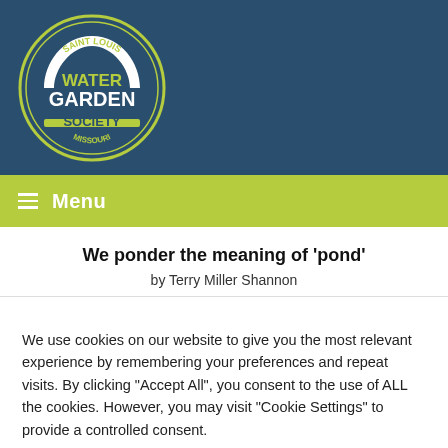[Figure (logo): Saint Louis Water Garden Society circular logo with arch and text on dark teal background]
Menu
We ponder the meaning of 'pond'
by Terry Miller Shannon
We use cookies on our website to give you the most relevant experience by remembering your preferences and repeat visits. By clicking "Accept All", you consent to the use of ALL the cookies. However, you may visit "Cookie Settings" to provide a controlled consent.
Cookie Settings | Accept All